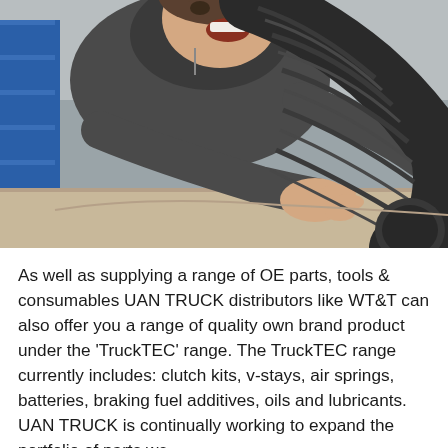[Figure (photo): A man in a dark hoodie leaning over a table or workbench, holding or examining a large corrugated rubber hose/flexi pipe. Blue shelving or storage rack visible in background on the left.]
As well as supplying a range of OE parts, tools & consumables UAN TRUCK distributors like WT&T can also offer you a range of quality own brand product under the 'TruckTEC' range. The TruckTEC range currently includes: clutch kits, v-stays, air springs, batteries, braking fuel additives, oils and lubricants. UAN TRUCK is continually working to expand the portfolio of parts we